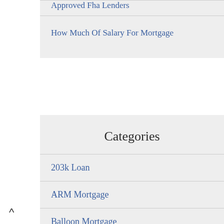Approved Fha Lenders
How Much Of Salary For Mortgage
Categories
203k Loan
ARM Mortgage
Balloon Mortgage
Blanket Mortgage
Blanket Mortgages
Business Loan
^